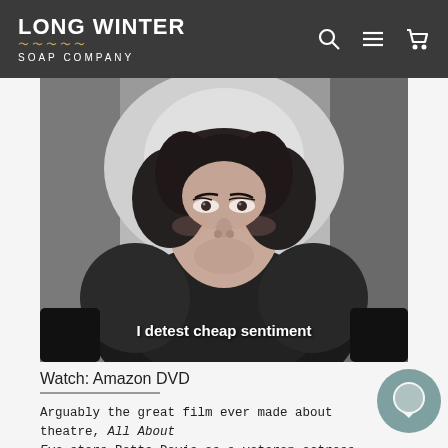LONG WINTER SOAP COMPANY
[Figure (photo): Black and white photo of Bette Davis as a glamorous woman in a fur coat, seated in a car, with overlaid text 'I detest cheap sentiment']
Watch: Amazon DVD
Arguably the great film ever made about theatre, All About Eve stars Bette Davis as a veteran actress determined to